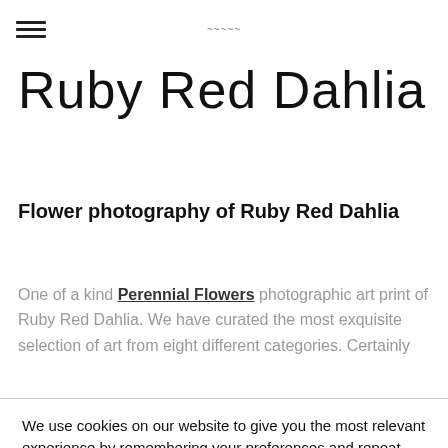≡  [logo]
Ruby Red Dahlia
Flower photography of Ruby Red Dahlia
One of a kind Perennial Flowers photographic art print of Ruby Red Dahlia. We have curated the most exquisite selection of art from eight different categories. Certainly
We use cookies on our website to give you the most relevant experience by remembering your preferences and repeat visits. By clicking "Accept", you consent to the use of ALL the cookies.
Do not sell my personal information·
Cookie Settings   Accept